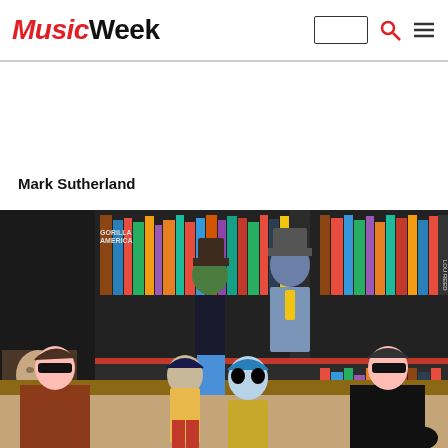Music Week
Mark Sutherland
[Figure (photo): Gorillaz animated band members (Murdoc, Noodle, 2-D, Russel) posed with real humans in front of a bookshelf filled with books and art objects]